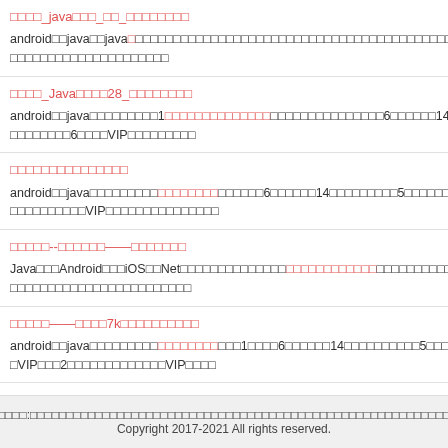□□□□_java□□□_□□_□□□□□□□□
android□□java□□java□□□□□□□□□□□□□□□□□□□□□□□□□□□□□□□□□□□□□□□□□□□□□□□□□□□□□□□□□□□□□□□□□□□□□□
□□□□_Java□□□□28_□□□□□□□□
android□□java□□□□□□□□1□□□□□□□□□□□□□□□□□□□□□□□□□□□□6□□□□□□14□□□□□□□□□5□□□□□□□□6□□□□VIP□□□□□□□□□
□□□□□□□□□□□□□□□
android□□java□□□□□□□□□□□□□□□□□□□□□□6□□□□□□14□□□□□□□□□5□□□□□□□□□6□□□□VIP□□□□□□□□□□□□□VIP□□□□□□□□□□□□□□□
□□□□□--□□□□□□——□□□□□□□
Java□□□Android□□□iOS□□Net□□□□□□□□□□□□□□□□□□□□□□□□□□□□□□□□□□□□□□□□□□□□□□□□□□□□□□□□□□□□□□□□□□□□□
□□□□□——□□□□7k□□□□□□□□□□
android□□java□□□□□□□□□□□□□□□□□□□□□□□□□1□□□□6□□□□□□14□□□□□□□□□□5□□□□□□□□□6□□□VIP□□□2□□□□□□□□□□□□□VIP□□□□
□□□□:□□□□□□□□□□□□□□□□□□□□□□□□□□□□□□□□□□□□□□□□□□□□□□□□□□□□□□□□□□
Copyright 2017-2021 All rights reserved.